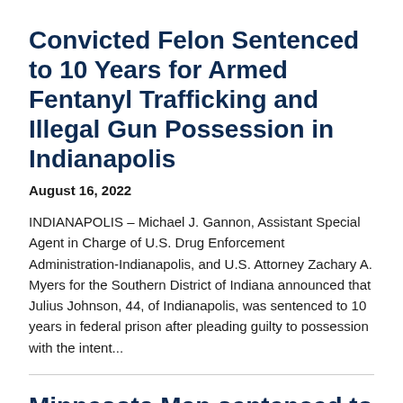Convicted Felon Sentenced to 10 Years for Armed Fentanyl Trafficking and Illegal Gun Possession in Indianapolis
August 16, 2022
INDIANAPOLIS – Michael J. Gannon, Assistant Special Agent in Charge of U.S. Drug Enforcement Administration-Indianapolis, and U.S. Attorney Zachary A. Myers for the Southern District of Indiana announced that Julius Johnson, 44, of Indianapolis, was sentenced to 10 years in federal prison after pleading guilty to possession with the intent...
Minnesota Man sentenced to